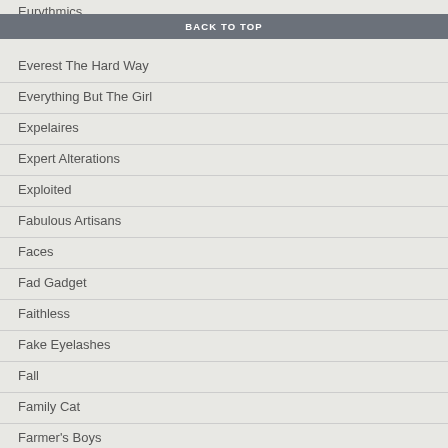Eurythmics
BACK TO TOP
Everest The Hard Way
Everything But The Girl
Expelaires
Expert Alterations
Exploited
Fabulous Artisans
Faces
Fad Gadget
Faithless
Fake Eyelashes
Fall
Family Cat
Farmer's Boys